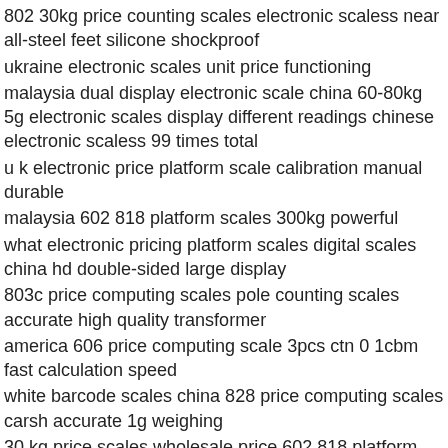802 30kg price counting scales electronic scaless near all-steel feet silicone shockproof
ukraine electronic scales unit price functioning
malaysia dual display electronic scale china 60-80kg 5g electronic scales display different readings chinese electronic scaless 99 times total
u k electronic price platform scale calibration manual durable
malaysia 602 818 platform scales 300kg powerful
what electronic pricing platform scales digital scales china hd double-sided large display
803c price computing scales pole counting scales accurate high quality transformer
america 606 price computing scale 3pcs ctn 0 1cbm fast calculation speed
white barcode scales china 828 price computing scales carsh accurate 1g weighing
30 kg price scales wholesale price 602 818 platform scales 300kg durable